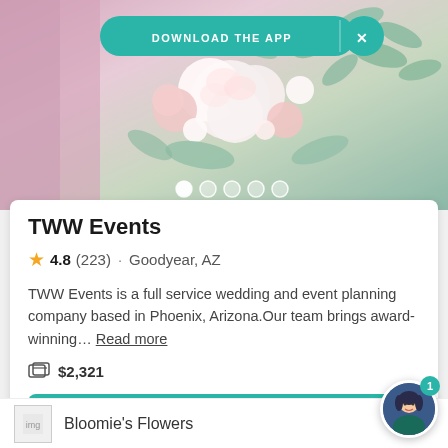[Figure (photo): Hero image of white and pink wedding flowers (roses, eucalyptus) with pink draping background. A teal 'DOWNLOAD THE APP' banner pill and X button appear at top. Five white dot indicators appear at the bottom of the image area.]
TWW Events
4.8 (223) · Goodyear, AZ
TWW Events is a full service wedding and event planning company based in Phoenix, Arizona.Our team brings award-winning… Read more
$2,321
Request pricing
Bloomie's Flowers